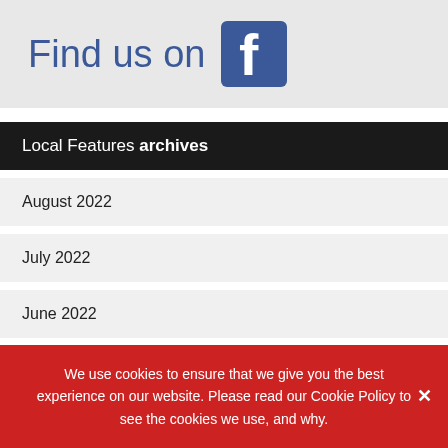[Figure (logo): Find us on Facebook banner with Facebook logo icon on grey background]
Local Features archives
August 2022
July 2022
June 2022
May 2022
We use cookies to ensure that we give you the best experience on our website. Please read our Cookie Policy to see the cookies we use, and why.